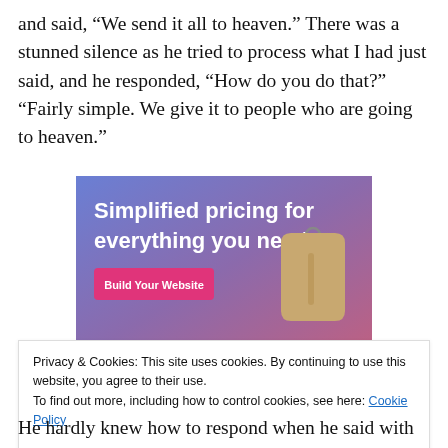and said, “We send it all to heaven.” There was a stunned silence as he tried to process what I had just said, and he responded, “How do you do that?” “Fairly simple. We give it to people who are going to heaven.”
[Figure (screenshot): Advertisement banner with purple-blue gradient background showing text 'Simplified pricing for everything you need.' with a pink 'Build Your Website' button and a price tag image on the right.]
Privacy & Cookies: This site uses cookies. By continuing to use this website, you agree to their use.
To find out more, including how to control cookies, see here: Cookie Policy
He hardly knew how to respond when he said with